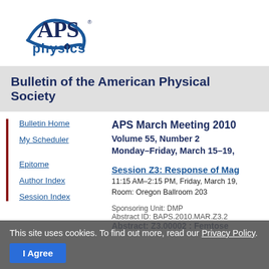[Figure (logo): APS Physics logo — stylized arc with 'APS' text and 'physics' in blue below]
Bulletin of the American Physical Society
APS March Meeting 2010
Volume 55, Number 2
Monday–Friday, March 15–19,
Session Z3: Response of Mag
11:15 AM–2:15 PM, Friday, March 19, Room: Oregon Ballroom 203
Bulletin Home
My Scheduler
Epitome
Author Index
Session Index
Sponsoring Unit: DMP
Abstract ID: BAPS.2010.MAR.Z3.2
Abstract: Z3.00002 : Femtose
This site uses cookies. To find out more, read our Privacy Policy.